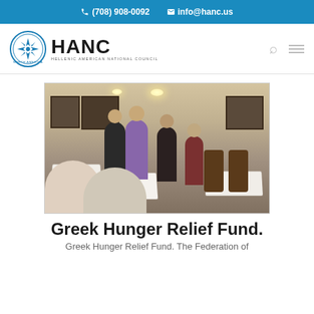(708) 908-0092   info@hanc.us
[Figure (logo): HANC Hellenic American National Council logo with circular emblem]
[Figure (photo): Group of people standing and conversing at a restaurant dinner event, with framed photographs on the wall in the background]
Greek Hunger Relief Fund.
Greek Hunger Relief Fund. The Federation of